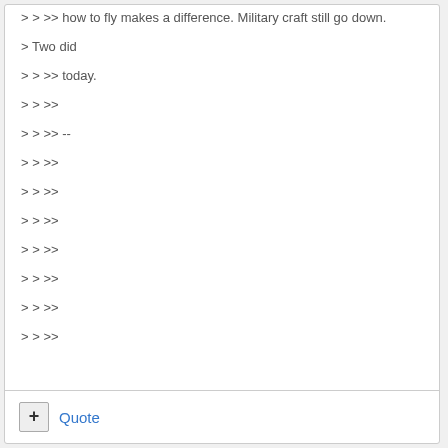> > >> how to fly makes a difference. Military craft still go down.
> Two did
> > >> today.
> > >>
> > >> --
> > >>
> > >>
> > >>
> > >>
> > >>
> > >>
> > >>
Quote